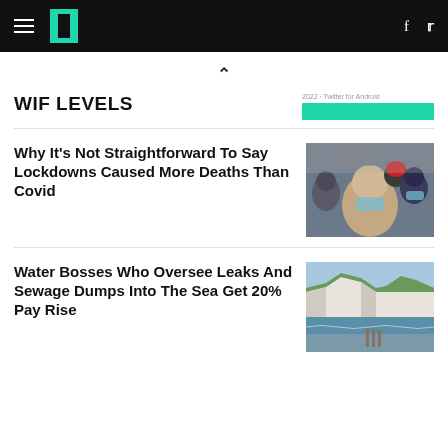HuffPost UK - navigation header with logo, hamburger menu, facebook and twitter icons
^
WIF Levels
2022 · Twitter for Android
[Figure (other): Teal/green colored bar button]
Why It's Not Straightforward To Say Lockdowns Caused More Deaths Than Covid
[Figure (photo): Crowd of people wearing face masks outdoors, one person with a red hat visible]
Water Bosses Who Oversee Leaks And Sewage Dumps Into The Sea Get 20% Pay Rise
[Figure (photo): Coastal cliff scene with white chalk cliffs and sea]